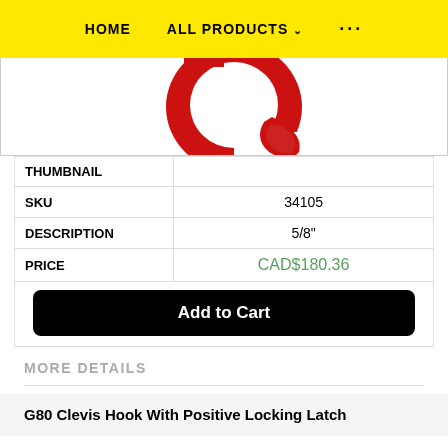HOME    ALL PRODUCTS ∨    ···
[Figure (photo): Red G80 clevis hook with positive locking latch, viewed from above, partially cropped at top of image]
| Field | Value |
| --- | --- |
| THUMBNAIL |  |
| SKU | 34105 |
| DESCRIPTION | 5/8" |
| PRICE | CAD$180.36 |
|  | Add to Cart |
MORE DETAILS
G80 Clevis Hook With Positive Locking Latch